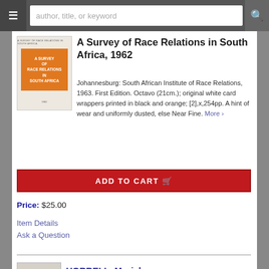author, title, or keyword
A Survey of Race Relations in South Africa, 1962
Johannesburg: South African Institute of Race Relations, 1963. First Edition. Octavo (21cm.); original white card wrappers printed in black and orange; [2],x,254pp. A hint of wear and uniformly dusted, else Near Fine. More ›
ADD TO CART 🛒
Price: $25.00
Item Details
Ask a Question
HORRELL, Muriel